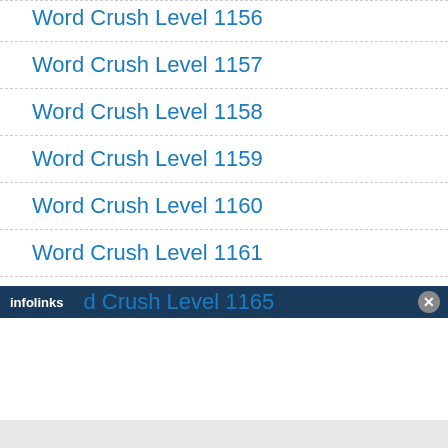Word Crush Level 1156
Word Crush Level 1157
Word Crush Level 1158
Word Crush Level 1159
Word Crush Level 1160
Word Crush Level 1161
Word Crush Level 1162
Word Crush Level 1163
Word Crush Level 1164
Word Crush Level 1165
[Figure (screenshot): Infolinks ad bar overlay at the bottom of the page with a close button]